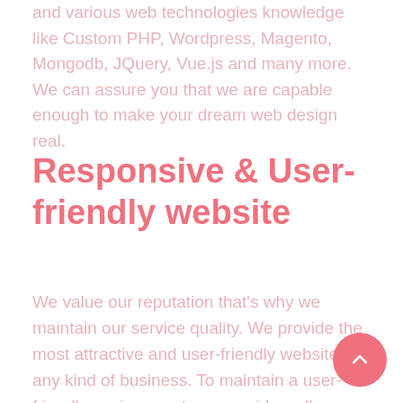and various web technologies knowledge like Custom PHP, Wordpress, Magento, Mongodb, JQuery, Vue.js and many more. We can assure you that we are capable enough to make your dream web design real.
Responsive & User-friendly website
We value our reputation that's why we maintain our service quality. We provide the most attractive and user-friendly website for any kind of business. To maintain a user-friendly environment, we provide well formatted content that users can understand and access easily. We design according to the devices that your website will stay clean and beautiful on all the most famous browsers/devices.